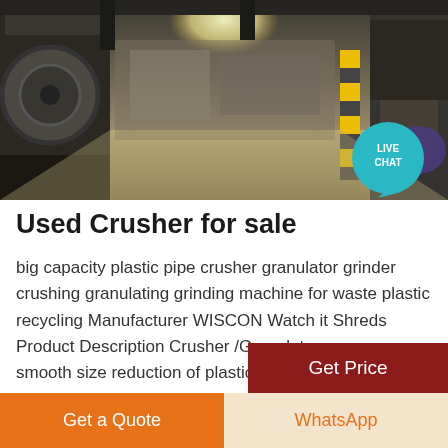[Figure (photo): Industrial factory interior with heavy machinery, a large cylindrical drum on the left, industrial equipment in the background, concrete floor, and overhead lighting]
Used Crusher for sale
big capacity plastic pipe crusher granulator grinder crushing granulating grinding machine for waste plastic recycling Manufacturer WISCON Watch it Shreds Product Description Crusher /Granulator ensures smooth size reduction of plastic and rubbery products such as PP PE PET PVC in all sizes The crusher is usually used as secondary shredding